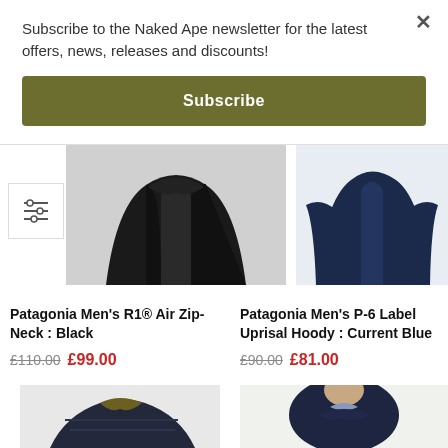Subscribe to the Naked Ape newsletter for the latest offers, news, releases and discounts!
Subscribe
[Figure (screenshot): Partial product image of Patagonia Men's R1 Air Zip-Neck in Black — a dark fleece jacket]
[Figure (screenshot): Partial product image of Patagonia Men's P-6 Label Uprisal Hoody in Current Blue — a navy blue hoody]
Patagonia Men's R1® Air Zip-Neck : Black
£110.00 £99.00
Patagonia Men's P-6 Label Uprisal Hoody : Current Blue
£90.00 £81.00
[Figure (photo): Bottom portion of a dark navy puffer jacket with olive interior lining visible at collar]
[Figure (photo): Man wearing a navy blue crew-neck knit sweater against light background]